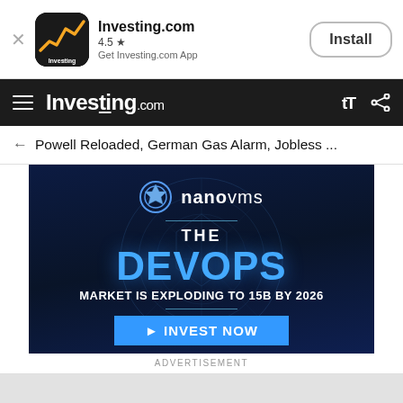[Figure (screenshot): App install banner for Investing.com with app icon, 4.5 star rating, and Install button]
Investing.com — navigation bar with hamburger menu, brand logo, text size and share icons
← Powell Reloaded, German Gas Alarm, Jobless ...
[Figure (advertisement): NanoVMS advertisement banner: 'THE DEVOPS MARKET IS EXPLODING TO 15B BY 2026' with INVEST NOW button]
ADVERTISEMENT